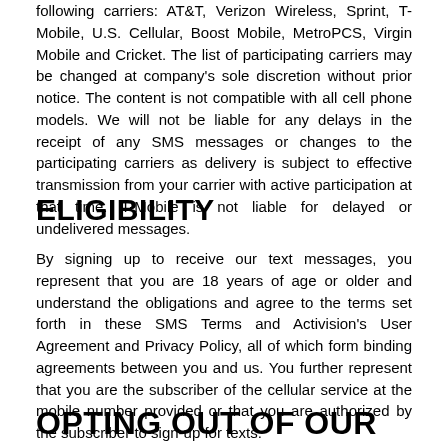following carriers: AT&T, Verizon Wireless, Sprint, T-Mobile, U.S. Cellular, Boost Mobile, MetroPCS, Virgin Mobile and Cricket. The list of participating carriers may be changed at company's sole discretion without prior notice. The content is not compatible with all cell phone models. We will not be liable for any delays in the receipt of any SMS messages or changes to the participating carriers as delivery is subject to effective transmission from your carrier with active participation at that time. T-Mobile is not liable for delayed or undelivered messages.
ELIGIBILITY
By signing up to receive our text messages, you represent that you are 18 years of age or older and understand the obligations and agree to the terms set forth in these SMS Terms and Activision's User Agreement and Privacy Policy, all of which form binding agreements between you and us. You further represent that you are the subscriber of the cellular service at the mobile number provided or that you are authorized by the subscriber to sign-up for texts.
OPTING OUT OF OUR TEXT